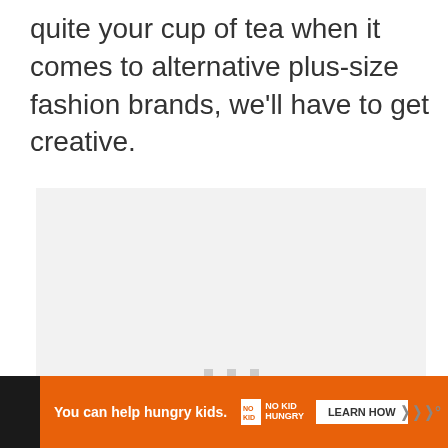quite your cup of tea when it comes to alternative plus-size fashion brands, we'll have to get creative.
[Figure (other): Light gray placeholder image box with three small gray squares centered, indicating a loading or missing image]
[Figure (screenshot): Advertisement bar: orange background with text 'You can help hungry kids.' and No Kid Hungry logo, LEARN HOW button, close X button, and watermark logo on dark background]